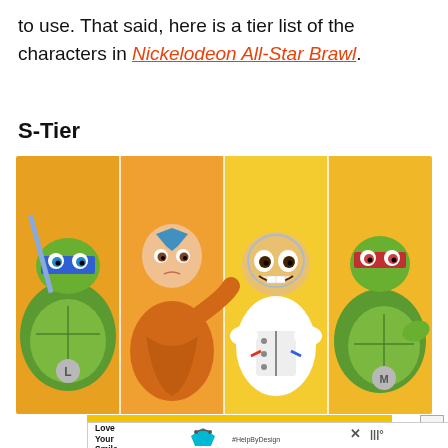to use. That said, here is a tier list of the characters in Nickelodeon All-Star Brawl.
S-Tier
[Figure (photo): Four Nickelodeon characters side by side: Leonardo (TMNT) with blue mask, Aang (Avatar) bald with blue arrow, Sandy Cheeks (SpongeBob) in spacesuit smiling, and Michelangelo (TMNT) with red/purple mask.]
[Figure (screenshot): Advertisement banner at the bottom: yellow stripe, white ad box with 'Love Your Smile.' text, a dental/health icon (blue pentagon with smile wire), #HelpByDesign hashtag, X close button, and weather widget showing degrees symbol.]